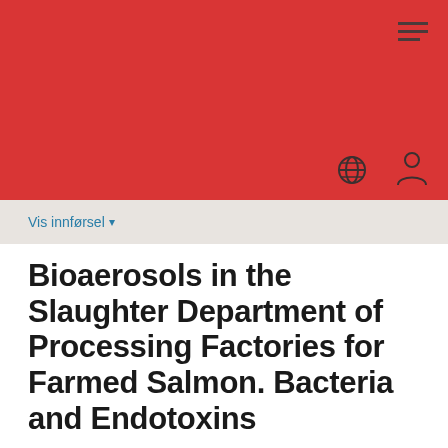[Figure (other): Red header banner with hamburger menu icon, globe icon, and person/user icon on dark red background]
Vis innførsel ▾
Bioaerosols in the Slaughter Department of Processing Factories for Farmed Salmon. Bacteria and Endotoxins
Adams, Camilla Solheim